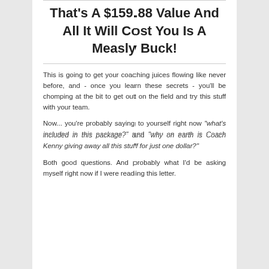That's A $159.88 Value And All It Will Cost You Is A Measly Buck!
This is going to get your coaching juices flowing like never before, and - once you learn these secrets - you'll be chomping at the bit to get out on the field and try this stuff with your team.
Now... you're probably saying to yourself right now "what's included in this package?" and "why on earth is Coach Kenny giving away all this stuff for just one dollar?"
Both good questions. And probably what I'd be asking myself right now if I were reading this letter.